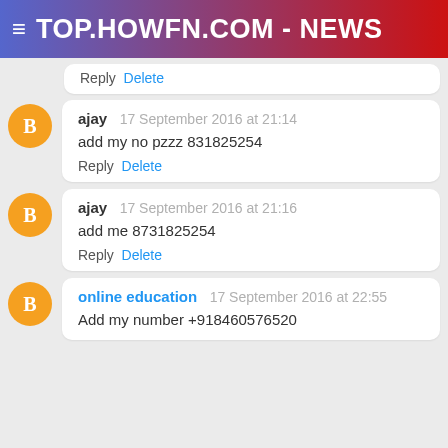≡ TOP.HOWFN.COM - NEWS
Reply  Delete
ajay  17 September 2016 at 21:14
add my no pzzz 831825254
Reply  Delete
ajay  17 September 2016 at 21:16
add me 8731825254
Reply  Delete
online education  17 September 2016 at 22:55
Add my number +918460576520